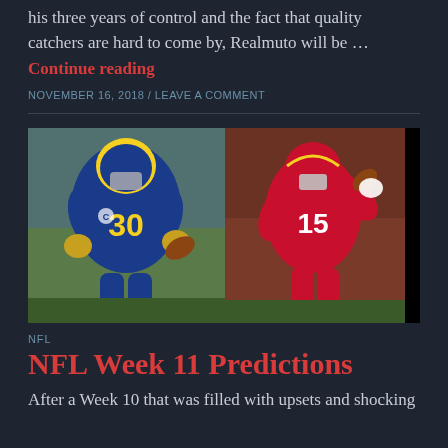his three years of control and the fact that quality catchers are hard to come by, Realmuto will be …
Continue reading
NOVEMBER 16, 2018 / LEAVE A COMMENT
[Figure (photo): Two NFL players side by side: left shows a Rams running back (#30) in blue and gold uniform running with the ball; right shows a Chiefs quarterback in red uniform preparing to throw. Black area on far right.]
NFL
NFL Week 11 Predictions
After a Week 10 that was filled with upsets and shocking